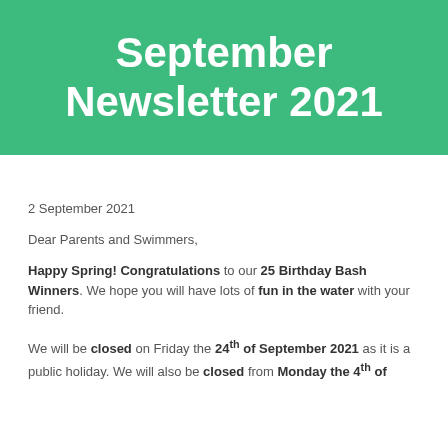September Newsletter 2021
2 September 2021
Dear Parents and Swimmers,
Happy Spring! Congratulations to our 25 Birthday Bash Winners. We hope you will have lots of fun in the water with your friend.
We will be closed on Friday the 24th of September 2021 as it is a public holiday. We will also be closed from Monday the 4th of